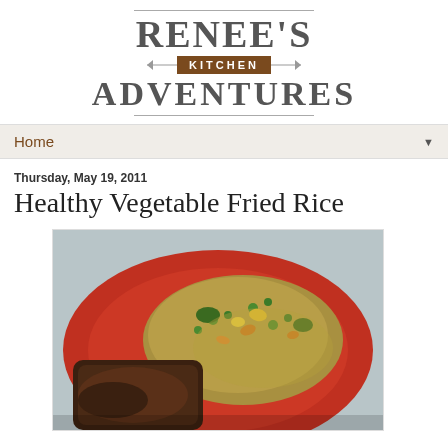[Figure (logo): Renee's Kitchen Adventures blog logo with decorative lines, brown 'KITCHEN' box, and large serif text]
Home
Thursday, May 19, 2011
Healthy Vegetable Fried Rice
[Figure (photo): A plate of healthy vegetable fried rice with colorful mixed vegetables including peas, carrots, broccoli, and eggs served on a red plate alongside some grilled meat]